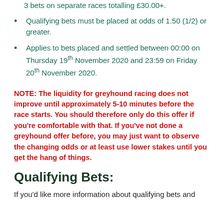3 bets on separate races totalling £30.00+.
Qualifying bets must be placed at odds of 1.50 (1/2) or greater.
Applies to bets placed and settled between 00:00 on Thursday 19th November 2020 and 23:59 on Friday 20th November 2020.
NOTE: The liquidity for greyhound racing does not improve until approximately 5-10 minutes before the race starts. You should therefore only do this offer if you're comfortable with that. If you've not done a greyhound offer before, you may just want to observe the changing odds or at least use lower stakes until you get the hang of things.
Qualifying Bets:
If you'd like more information about qualifying bets and